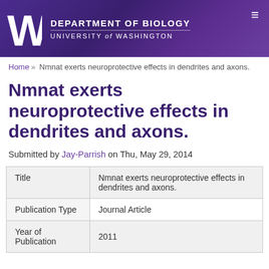[Figure (logo): University of Washington Department of Biology header banner with UW logo (W) and text: DEPARTMENT OF BIOLOGY, UNIVERSITY of WASHINGTON]
Home » Nmnat exerts neuroprotective effects in dendrites and axons.
Nmnat exerts neuroprotective effects in dendrites and axons.
Submitted by Jay-Parrish on Thu, May 29, 2014
| Title | Nmnat exerts neuroprotective effects in dendrites and axons. |
| Publication Type | Journal Article |
| Year of Publication | 2011 |